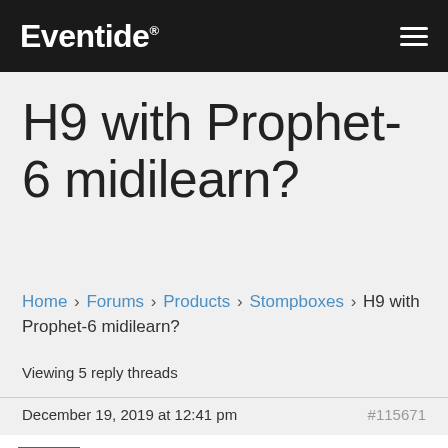Eventide
H9 with Prophet-6 midilearn?
Home › Forums › Products › Stompboxes › H9 with Prophet-6 midilearn?
Viewing 5 reply threads
December 19, 2019 at 12:41 pm   #115671
theohjorth